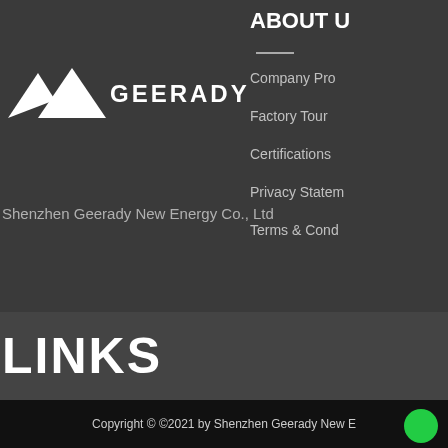[Figure (logo): Geerady company logo with mountain/triangle icon and text GEERADY]
Shenzhen Geerady New Energy Co., Ltd
[Figure (illustration): Social media icons: Twitter, Facebook, Google+, LinkedIn, YouTube, Skype]
ABOUT U
Company Pro
Factory Tour
Certifications
Privacy Statem
Terms & Cond
[Figure (illustration): Blue back-to-top button with up chevron]
LINKS
Copyright © ©2021 by Shenzhen Geerady New E C